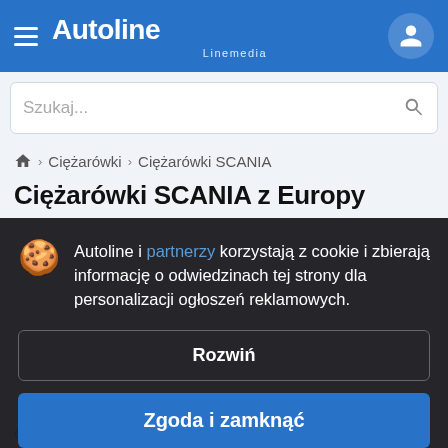Autoline Linemedia
Szukaj...
🏠 > Ciężarówki > Ciężarówki SCANIA
Ciężarówki SCANIA z Europy
Autoline i partnerzy korzystają z cookie i zbierają informację o odwiedzinach tej strony dla personalizacji ogłoszeń reklamowych.
Rozwiń
Zgoda i zamknąć
Ciężarówki SCANIA: 2153 ogłoszenia